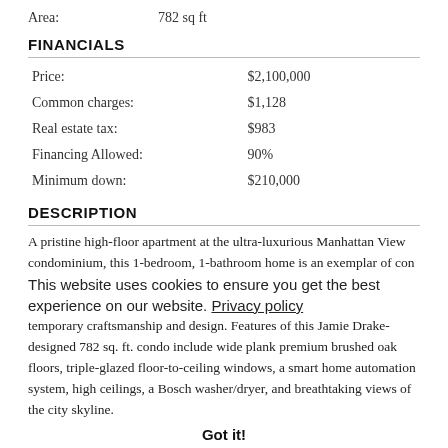Area: 782 sq ft
FINANCIALS
|  |  |
| --- | --- |
| Price: | $2,100,000 |
| Common charges: | $1,128 |
| Real estate tax: | $983 |
| Financing Allowed: | 90% |
| Minimum down: | $210,000 |
DESCRIPTION
A pristine high-floor apartment at the ultra-luxurious Manhattan View condominium, this 1-bedroom, 1-bathroom home is an exemplar of contemporary craftsmanship and design. Features of this Jamie Drake-designed 782 sq. ft. condo include wide plank premium brushed oak floors, triple-glazed floor-to-ceiling windows, a smart home automation system, high ceilings, a Bosch washer/dryer, and breathtaking views of the city skyline.
This website uses cookies to ensure you get the best experience on our website. Privacy policy
Got it!
A welcoming foyer adorned with a large coat closet flows into an open-